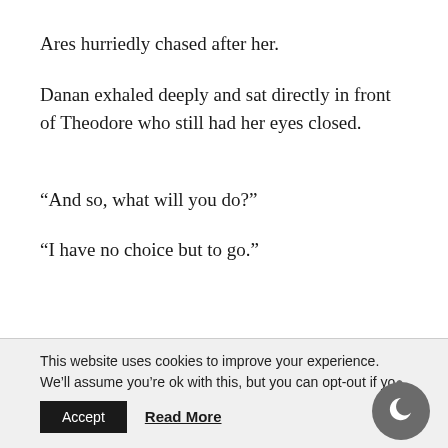Ares hurriedly chased after her.
Danan exhaled deeply and sat directly in front of Theodore who still had her eyes closed.
“And so, what will you do?”
“I have no choice but to go.”
This website uses cookies to improve your experience. We’ll assume you’re ok with this, but you can opt-out if yo…
Accept
Read More